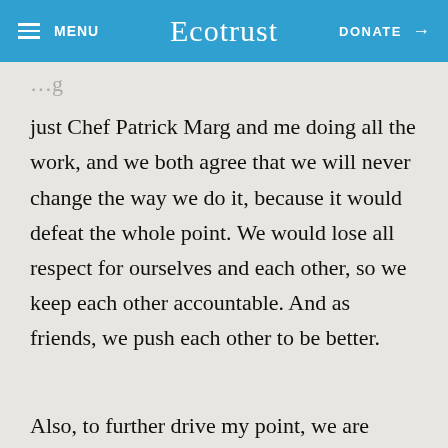MENU | Ecotrust | DONATE →
just Chef Patrick Marg and me doing all the work, and we both agree that we will never change the way we do it, because it would defeat the whole point. We would lose all respect for ourselves and each other, so we keep each other accountable. And as friends, we push each other to be better.
Also, to further drive my point, we are buying whole pigs from Redbird Acres, and I'm